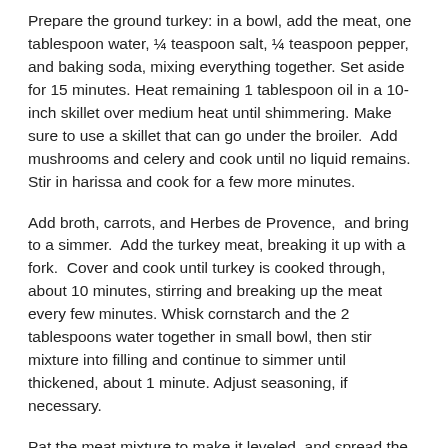Prepare the ground turkey: in a bowl, add the meat, one tablespoon water, ¼ teaspoon salt, ¼ teaspoon pepper, and baking soda, mixing everything together. Set aside for 15 minutes. Heat remaining 1 tablespoon oil in a 10-inch skillet over medium heat until shimmering. Make sure to use a skillet that can go under the broiler. Add mushrooms and celery and cook until no liquid remains.  Stir in harissa and cook for a few more minutes.
Add broth, carrots, and Herbes de Provence,  and bring to a simmer.  Add the turkey meat, breaking it up with a fork.  Cover and cook until turkey is cooked through, about 10 minutes, stirring and breaking up the meat every few minutes. Whisk cornstarch and the 2 tablespoons water together in small bowl, then stir mixture into filling and continue to simmer until thickened, about 1 minute. Adjust seasoning, if necessary.
Pat the meat mixture to make it leveled, and spread the cauliflower puree all over the surface.  If you like, use tines